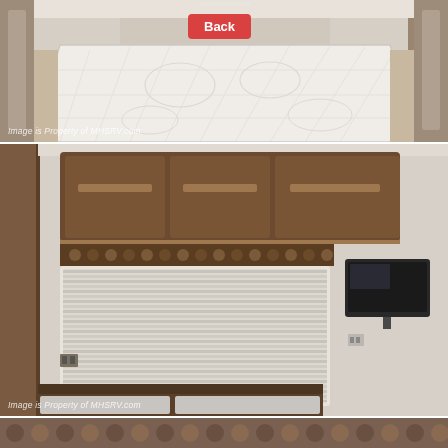[Figure (photo): Interior photo of RV bedroom showing a large mattress/bed with quilted white bedding, beige/tan walls and cabinetry. Watermark: 'Image is Property of MHSRV.com'. A red 'Back' button overlay appears in the upper center.]
[Figure (photo): Interior photo of RV bedroom showing dark wood overhead cabinets with chrome handles, a window with horizontal blinds, a small wall-mounted TV on the right, and a dark countertop/dresser below. Watermark: 'Image is Property of MHSRV.com'.]
[Figure (photo): Partial interior photo of RV showing decorative elements, partially visible at the bottom of the page.]